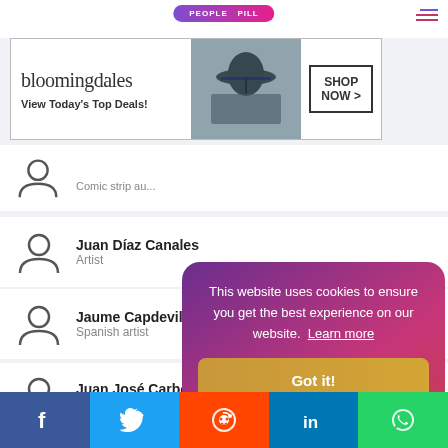[Figure (screenshot): People Pill website header with hamburger menu icon]
[Figure (screenshot): Bloomingdale's advertisement banner: View Today's Top Deals! with SHOP NOW button]
Juan Diaz Canales
Artist
Jaume Capdevila
Spanish artist
Juan José Carbó
Comic strip co...
Jan (comi...
Spanish comi...
Fernando
Artist
This website uses cookies to ensure you get the best experience on our website. Learn more
Got it!
[Figure (screenshot): Social sharing bar with Facebook, Twitter, Reddit, LinkedIn, WhatsApp buttons]